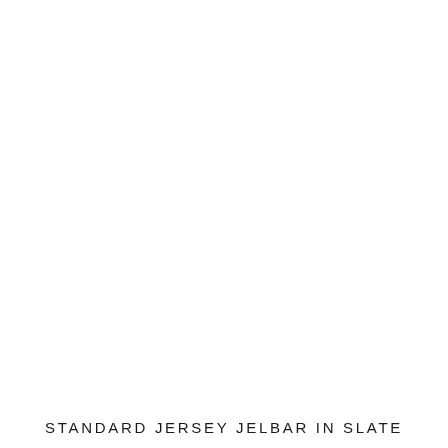[Figure (photo): Large white/blank product image area taking up most of the page]
STANDARD JERSEY JELBAR IN SLATE